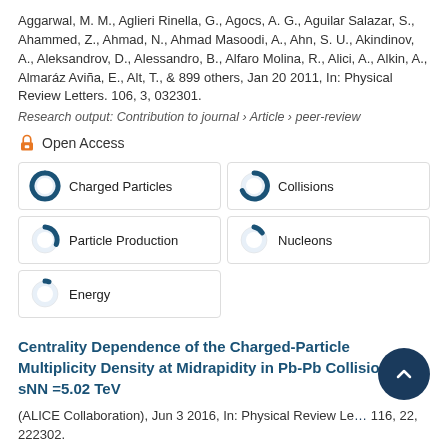Aggarwal, M. M., Aglieri Rinella, G., Agocs, A. G., Aguilar Salazar, S., Ahammed, Z., Ahmad, N., Ahmad Masoodi, A., Ahn, S. U., Akindinov, A., Aleksandrov, D., Alessandro, B., Alfaro Molina, R., Alici, A., Alkin, A., Almaráz Aviña, E., Alt, T., & 899 others, Jan 20 2011, In: Physical Review Letters. 106, 3, 032301.
Research output: Contribution to journal › Article › peer-review
Open Access
[Figure (infographic): Five keyword badges with donut chart icons: Charged Particles (~100%), Collisions (~90%), Particle Production (~40%), Nucleons (~20%), Energy (~10%)]
Centrality Dependence of the Charged-Particle Multiplicity Density at Midrapidity in Pb-Pb Collisions at sNN =5.02 TeV
(ALICE Collaboration), Jun 3 2016, In: Physical Review Letters. 116, 22, 222302.
Research output: Contribution to journal › Article › peer-review
[Figure (infographic): Partial keyword badges visible at bottom: Charged Particles and Collisions]